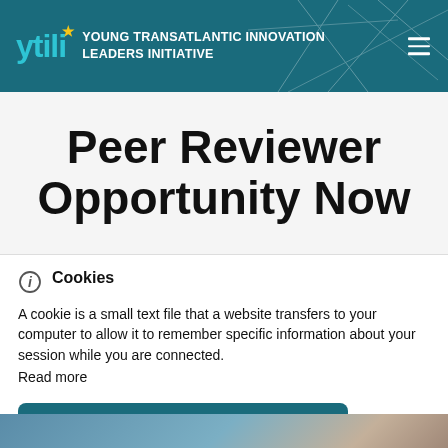ytili YOUNG TRANSATLANTIC INNOVATION LEADERS INITIATIVE
Peer Reviewer Opportunity Now
Cookies
A cookie is a small text file that a website transfers to your computer to allow it to remember specific information about your session while you are connected.
Read more
Accept and close